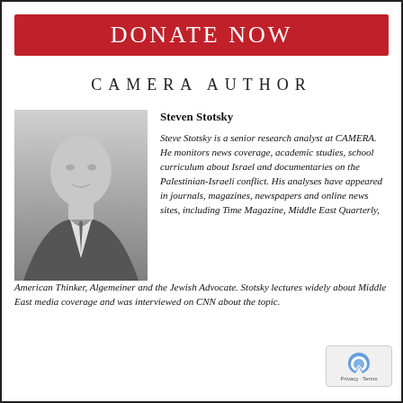DONATE NOW
CAMERA AUTHOR
[Figure (photo): Black and white headshot of Steven Stotsky, a man in a suit and tie]
Steven Stotsky

Steve Stotsky is a senior research analyst at CAMERA. He monitors news coverage, academic studies, school curriculum about Israel and documentaries on the Palestinian-Israeli conflict. His analyses have appeared in journals, magazines, newspapers and online news sites, including Time Magazine, Middle East Quarterly, American Thinker, Algemeiner and the Jewish Advocate. Stotsky lectures widely about Middle East media coverage and was interviewed on CNN about the topic.